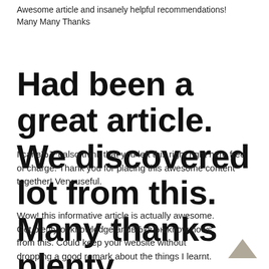Awesome article and insanely helpful recommendations! Many Many Thanks
Had been a great article. We discovered lot from this. Many thanks plenty
I canвЂ™t also think that you left this right right here free of charge. Thank you for placing this awesome content together! Very useful.
Wow! this informative article is actually awesome. Got plenty of knowledge andвЂквЂњknow hows from this. Could keep your website without dropping a good remark about the things I learnt.